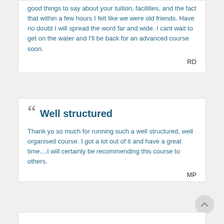good things to say about your tuition, facilities, and the fact that within a few hours I felt like we were old friends. Have no doubt I will spread the word far and wide. I cant wait to get on the water and I'll be back for an advanced course soon.
RD
Well structured
Thank yo so much for running such a well structured, well organised course. I got a lot out of it and have a great time....I will certainly be recommending this course to others.
MP